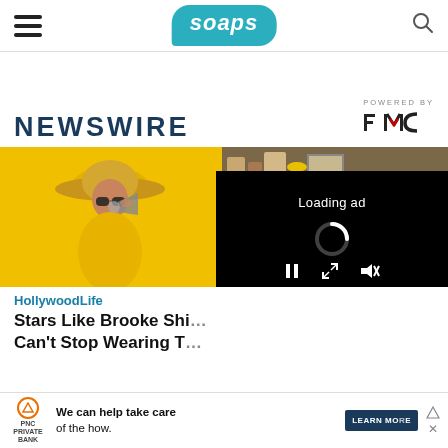soaps
NEWSWIRE
[Figure (logo): POWERED BY PMC logo]
[Figure (photo): Woman in yellow hat and yellow top holding megaphone against yellow background]
[Figure (photo): Two people posing in front of a bookshelf with trophies and framed photos]
[Figure (other): Video player overlay showing Loading ad text with spinner and playback controls]
HollywoodLife
Stars Like Brooke Shi… Can’t Stop Wearing T…
[Figure (other): PNC Private Bank advertisement: We can help take care of the how. LEARN MORE button.]